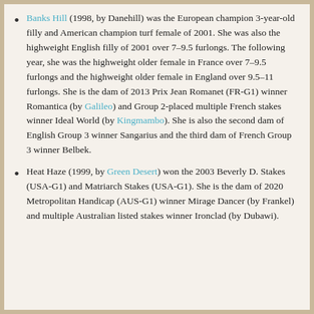Banks Hill (1998, by Danehill) was the European champion 3-year-old filly and American champion turf female of 2001. She was also the highweight English filly of 2001 over 7–9.5 furlongs. The following year, she was the highweight older female in France over 7–9.5 furlongs and the highweight older female in England over 9.5–11 furlongs. She is the dam of 2013 Prix Jean Romanet (FR-G1) winner Romantica (by Galileo) and Group 2-placed multiple French stakes winner Ideal World (by Kingmambo). She is also the second dam of English Group 3 winner Sangarius and the third dam of French Group 3 winner Belbek.
Heat Haze (1999, by Green Desert) won the 2003 Beverly D. Stakes (USA-G1) and Matriarch Stakes (USA-G1). She is the dam of 2020 Metropolitan Handicap (AUS-G1) winner Mirage Dancer (by Frankel) and multiple Australian listed stakes winner Ironclad (by Dubawi).